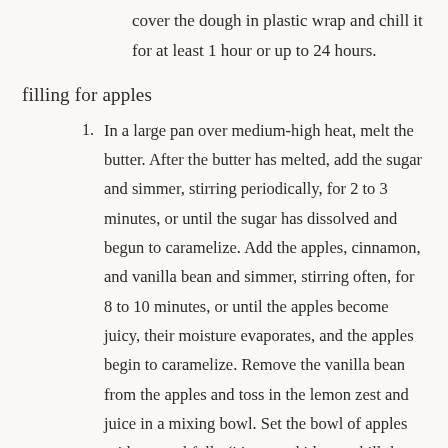cover the dough in plastic wrap and chill it for at least 1 hour or up to 24 hours.
filling for apples
In a large pan over medium-high heat, melt the butter. After the butter has melted, add the sugar and simmer, stirring periodically, for 2 to 3 minutes, or until the sugar has dissolved and begun to caramelize. Add the apples, cinnamon, and vanilla bean and simmer, stirring often, for 8 to 10 minutes, or until the apples become juicy, their moisture evaporates, and the apples begin to caramelize. Remove the vanilla bean from the apples and toss in the lemon zest and juice in a mixing bowl. Set the bowl of apples aside to cool fully (it's a good idea to chill the apples in the refrigerator for 30 minutes–the apple filling may be kept for up to 5 days).
put the babka together